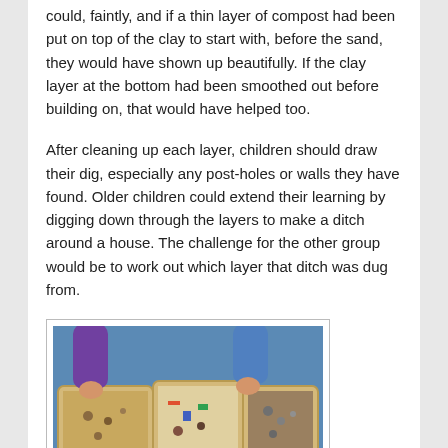could, faintly, and if a thin layer of compost had been put on top of the clay to start with, before the sand, they would have shown up beautifully. If the clay layer at the bottom had been smoothed out before building on, that would have helped too.
After cleaning up each layer, children should draw their dig, especially any post-holes or walls they have found. Older children could extend their learning by digging down through the layers to make a ditch around a house. The challenge for the other group would be to work out which layer that ditch was dug from.
[Figure (photo): Overhead view of children's hands reaching into yellow/beige trays on a blue tarpaulin, sorting through archaeological finds. Multiple sorting trays visible with various items.]
After the dig is finished, go through each tray of finds to examine what came out of each layer. What was in the